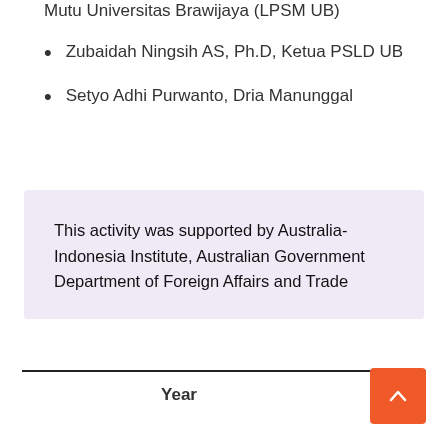Mutu Universitas Brawijaya (LPSM UB)
Zubaidah Ningsih AS, Ph.D, Ketua PSLD UB
Setyo Adhi Purwanto, Dria Manunggal
This activity was supported by Australia-Indonesia Institute, Australian Government Department of Foreign Affairs and Trade
Year